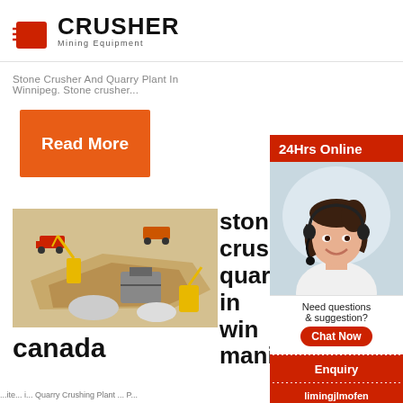[Figure (logo): Crusher Mining Equipment logo with red shopping bag icon and bold black CRUSHER text]
Stone Crusher And Quarry Plant In Winnipeg. Stone crusher...
Read More
[Figure (illustration): Aerial/isometric illustration of a stone quarry and crushing plant with trucks, excavators, and crusher equipment]
stone crusher quarry in winnipeg manit
canada
[Figure (photo): 24Hrs Online sidebar with photo of smiling Asian woman with headset, Need questions & suggestion, Chat Now button, Enquiry section, limingjlmofen@sina.com email]
...ite... i... Quarry Crushing Plant ... P...